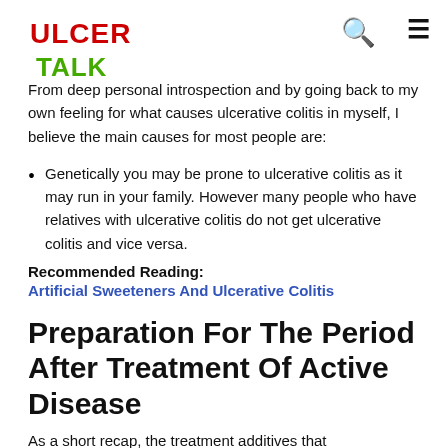ULCER TALK
From deep personal introspection and by going back to my own feeling for what causes ulcerative colitis in myself, I believe the main causes for most people are:
Genetically you may be prone to ulcerative colitis as it may run in your family. However many people who have relatives with ulcerative colitis do not get ulcerative colitis and vice versa.
Recommended Reading:
Artificial Sweeteners And Ulcerative Colitis
Preparation For The Period After Treatment Of Active Disease